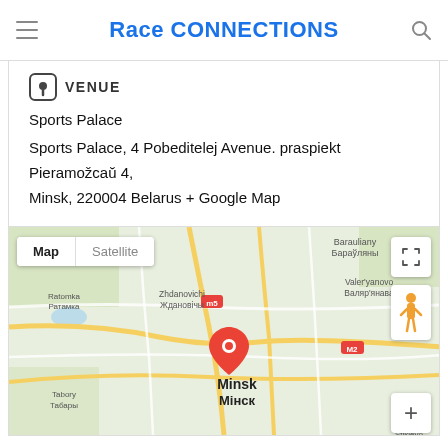Race CONNECTIONS
VENUE
Sports Palace
Sports Palace, 4 Pobeditelej Avenue. praspiekt Pieramožcaŭ 4,
Minsk, 220004 Belarus + Google Map
[Figure (map): Google Map screenshot showing Minsk, Belarus with a red location pin marker. Map controls include Map/Satellite toggle, fullscreen button, Street View pegman, and zoom plus button. Labels include Barauliany / Бараўляны, Valer'yanovo / Валяр'янава, Zhdanovichi / Ждановічы, Ratomka / Ратамка, Tabory / Табары, Bol'shoe Stiklevo, Minsk / Мінск.]